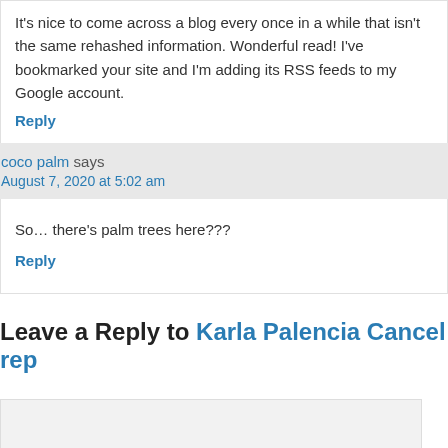It’s nice to come across a blog every once in a while that isn’t the same rehashed information. Wonderful read! I’ve bookmarked your site and I’m adding its RSS feeds to my Google account.
Reply
coco palm says
August 7, 2020 at 5:02 am
So… there’s palm trees here???
Reply
Leave a Reply to Karla Palencia Cancel rep